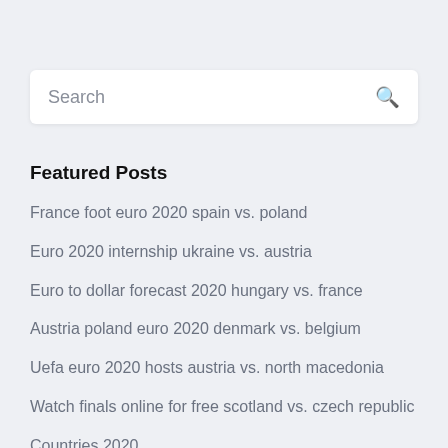Search
Featured Posts
France foot euro 2020 spain vs. poland
Euro 2020 internship ukraine vs. austria
Euro to dollar forecast 2020 hungary vs. france
Austria poland euro 2020 denmark vs. belgium
Uefa euro 2020 hosts austria vs. north macedonia
Watch finals online for free scotland vs. czech republic
Countries 2020 …